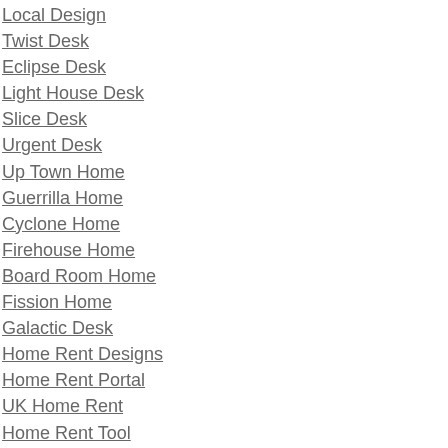Local Design
Twist Desk
Eclipse Desk
Light House Desk
Slice Desk
Urgent Desk
Up Town Home
Guerrilla Home
Cyclone Home
Firehouse Home
Board Room Home
Fission Home
Galactic Desk
Home Rent Designs
Home Rent Portal
UK Home Rent
Home Rent Tool
Home Rent Office
Home Rent Green